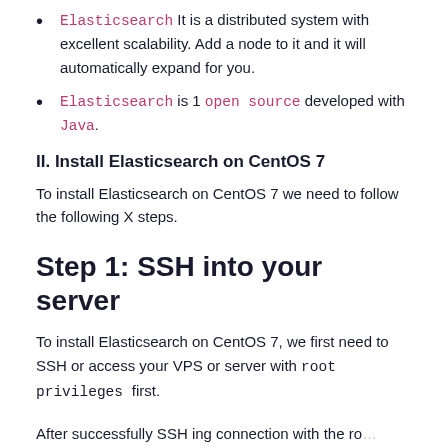Elasticsearch It is a distributed system with excellent scalability. Add a node to it and it will automatically expand for you.
Elasticsearch is 1 open source developed with Java.
II. Install Elasticsearch on CentOS 7
To install Elasticsearch on CentOS 7 we need to follow the following X steps.
Step 1: SSH into your server
To install Elasticsearch on CentOS 7, we first need to SSH or access your VPS or server with root privileges first.
After successfully SSH ing connection with the ro...